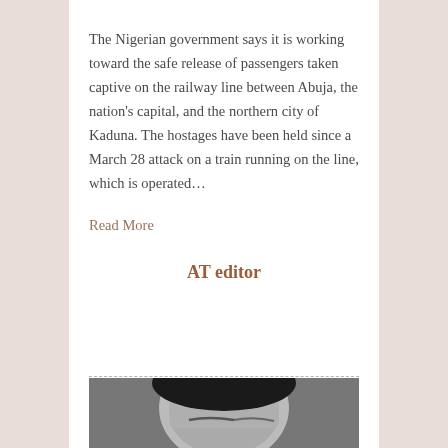The Nigerian government says it is working toward the safe release of passengers taken captive on the railway line between Abuja, the nation's capital, and the northern city of Kaduna. The hostages have been held since a March 28 attack on a train running on the line, which is operated…
Read More
AT editor
[Figure (photo): Black and white close-up photograph of a person's head, partially visible from the top, showing hair and forehead]